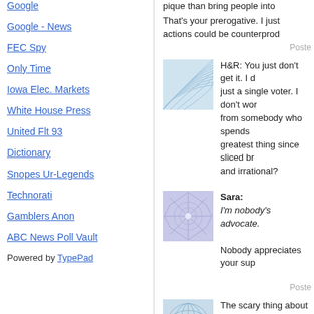Google
Google - News
FEC Spy
Only Time
Iowa Elec. Markets
White House Press
United Flt 93
Dictionary
Snopes Ur-Legends
Technorati
Gamblers Anon
ABC News Poll Vault
Powered by TypePad
pique than bring people into ...
That's your prerogative. I just... actions could be counterprod...
Posted
[Figure (illustration): Blue wave pattern avatar]
H&R: You just don't get it. I d... just a single voter. I don't wor... from somebody who spends ... greatest thing since sliced br... and irrational?
[Figure (illustration): Purple star/snowflake pattern avatar]
Sara:
I'm nobody's advocate.

Nobody appreciates your sup...
Posted
[Figure (illustration): Blue grid globe pattern avatar]
The scary thing about Jennife... BIDEN.

And li... at it...